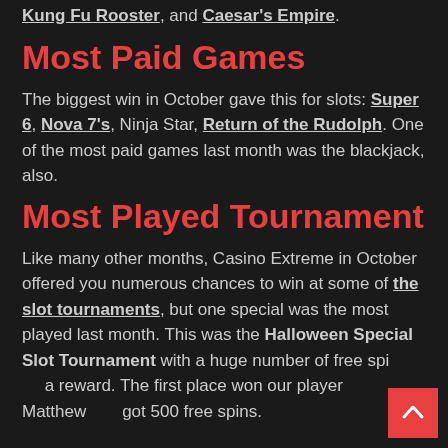Kung Fu Rooster, and Caesar's Empire.
Most Paid Games
The biggest win in October gave this for slots: Super 6, Nova 7's, Ninja Star, Return of the Rudolph. One of the most paid games last month was the blackjack, also.
Most Played Tournament
Like many other months, Casino Extreme in October offered you numerous chances to win at some of the slot tournaments, but one special was the most played last month. This was the Halloween Special Slot Tournament with a huge number of free spins as a reward. The first place won our player Matthew who got 500 free spins.